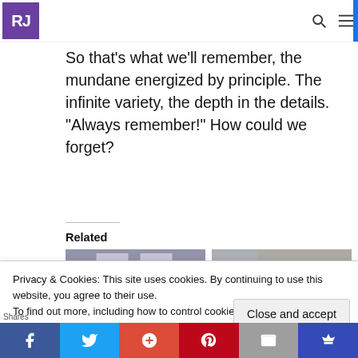RJ
hrough all that. By all that Mom did.
So that’s what we’ll remember, the mundane energized by principle. The infinite variety, the depth in the details. “Always remember!” How could we forget?
Related
[Figure (photo): Two related article thumbnail images side by side]
Privacy & Cookies: This site uses cookies. By continuing to use this website, you agree to their use.
To find out more, including how to control cookies, see here: Cookie Policy
Close and accept
Shares | Facebook | Twitter | Google+ | Pinterest | Email | King